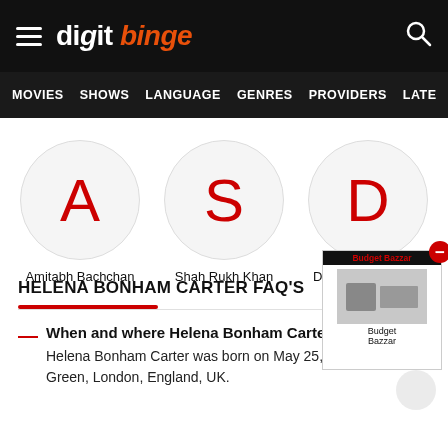digit binge — navigation header with hamburger menu and search icon
MOVIES   SHOWS   LANGUAGE   GENRES   PROVIDERS   LATE
[Figure (illustration): Three actor profile avatars in circular frames: A (Amitabh Bachchan), S (Shah Rukh Khan), D (Deepika Padukone)]
HELENA BONHAM CARTER FAQ'S
[Figure (photo): Advertisement box for Budget Bazzar with a red minus badge and product image]
When and where Helena Bonham Carter was born?
Helena Bonham Carter was born on May 25, 1966 in Golders Green, London, England, UK.